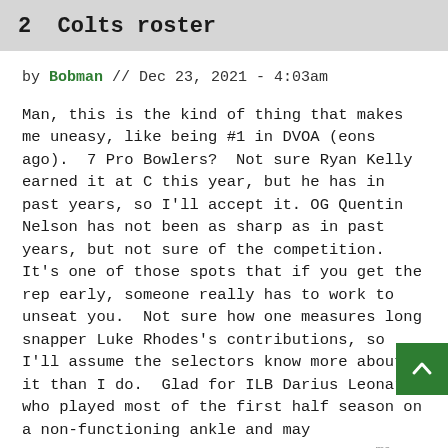2  Colts roster
by Bobman // Dec 23, 2021 - 4:03am
Man, this is the kind of thing that makes me uneasy, like being #1 in DVOA (eons ago).  7 Pro Bowlers?  Not sure Ryan Kelly earned it at C this year, but he has in past years, so I'll accept it. OG Quentin Nelson has not been as sharp as in past years, but not sure of the competition.  It's one of those spots that if you get the rep early, someone really has to work to unseat you.  Not sure how one measures long snapper Luke Rhodes's contributions, so I'll assume the selectors know more about it than I do.  Glad for ILB Darius Leonard, who played most of the first half season on a non-functioning ankle and may